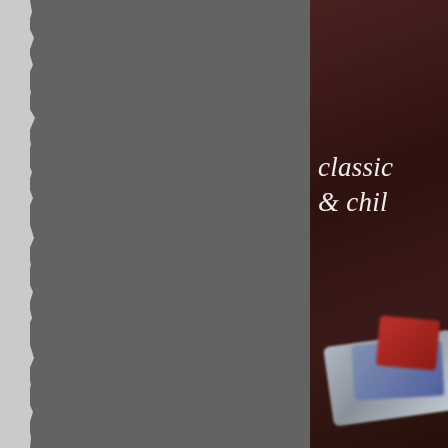[Figure (photo): Two-panel composition. Left panel: dark gray background with a torn/ragged white paper edge on the left side creating a textured border effect. Right panel: dark brownish-red background (blurred bokeh photo) with stacked blurred objects (cards or books in silver, blue, and red) at the bottom, and italic serif text 'classic & chil' (partially cropped) in cream/off-white color overlaid on the dark background. A thin white gap separates the two panels.]